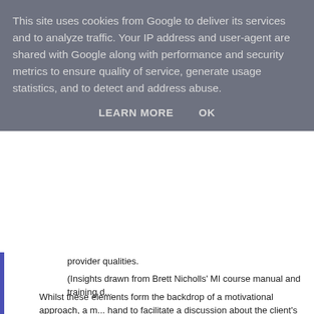This site uses cookies from Google to deliver its services and to analyze traffic. Your IP address and user-agent are shared with Google along with performance and security metrics to ensure quality of service, generate usage statistics, and to detect and address abuse.
LEARN MORE   OK
provider qualities.
(Insights drawn from Brett Nicholls' MI course manual and training d...
Whilst these elements form the backdrop of a motivational approach, a m... hand to facilitate a discussion about the client's personal concerns and p... and evocative questions that establish the priorities of the person having... engagement by reframing and reflecting client statements, these and oth... Despite requiring training and practice, when used well, the basic skills c... individuals connect with the things that are important to them. Health Dia... for any providers seeking more in-depth guidance.
As the name Motivational Interviewing would also suggest, the technique... client's ability to take control of their lifestyle. Whilst the principle of a 'no... exploring and imparting this confidence, it remains the case that making... effect of encouraging behaviour change. Although resisting negative judg... should be noted that making the assumption that clients have the capaci...